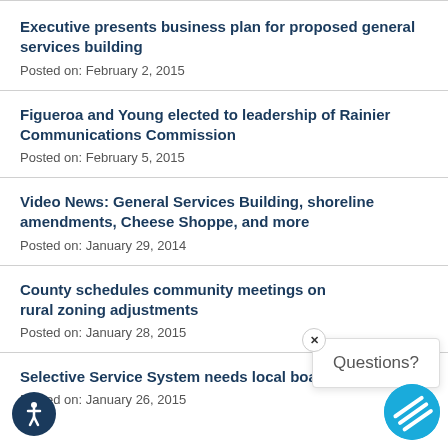Executive presents business plan for proposed general services building
Posted on: February 2, 2015
Figueroa and Young elected to leadership of Rainier Communications Commission
Posted on: February 5, 2015
Video News: General Services Building, shoreline amendments, Cheese Shoppe, and more
Posted on: January 29, 2014
County schedules community meetings on rural zoning adjustments
Posted on: January 28, 2015
Selective Service System needs local board members
Posted on: January 26, 2015